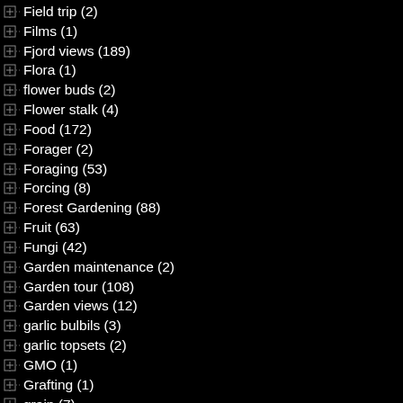Field trip (2)
Films (1)
Fjord views (189)
Flora (1)
flower buds (2)
Flower stalk (4)
Food (172)
Forager (2)
Foraging (53)
Forcing (8)
Forest Gardening (88)
Fruit (63)
Fungi (42)
Garden maintenance (2)
Garden tour (108)
Garden views (12)
garlic bulbils (3)
garlic topsets (2)
GMO (1)
Grafting (1)
grain (7)
Greenhouse (1)
Halophytes (4)
Harvest (6)